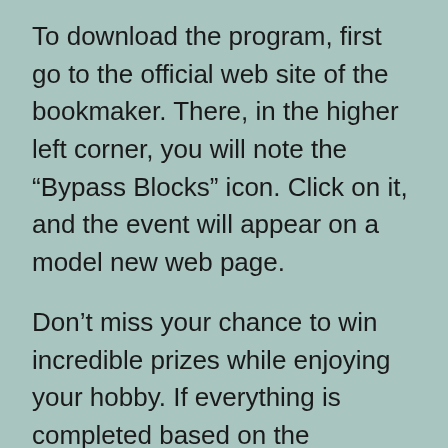To download the program, first go to the official web site of the bookmaker. There, in the higher left corner, you will note the “Bypass Blocks” icon. Click on it, and the event will appear on a model new web page.
Don’t miss your chance to win incredible prizes while enjoying your hobby. If everything is completed based on the instructions, the applying shall be put in routinely. Then OnexBet apk could be faraway from the smartphone – the file is no longer wanted. It is beneficial to return the security settings to their authentic state. Start by choosing a payment